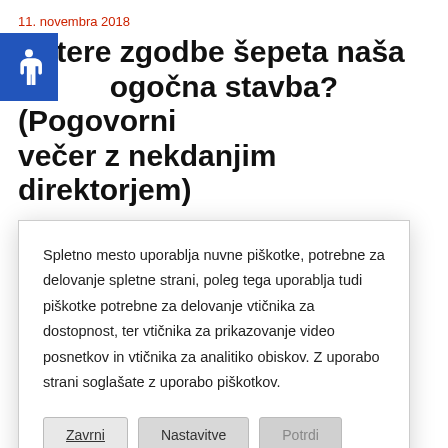11. novembra 2018
Katere zgodbe šepeta naša mogočna stavba? (Pogovorni večer z nekdanjim direktorjem)
V četrtek, 8. 11. 2018, smo imeli v študentskem do...
[Figure (other): Cookie consent modal dialog with text about cookies and three buttons: Zavrni, Nastavitve, Potrdi]
med prvo in drugo svetovno vojno, kako je zgledalo